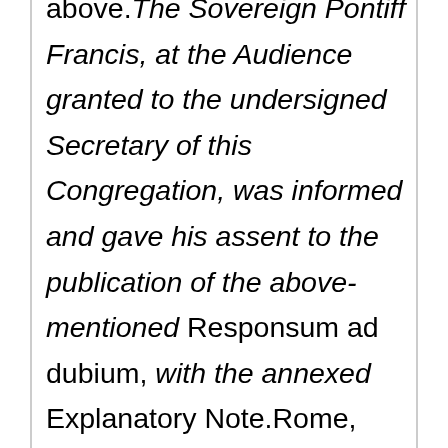above. The Sovereign Pontiff Francis, at the Audience granted to the undersigned Secretary of this Congregation, was informed and gave his assent to the publication of the above-mentioned Responsum ad dubium, with the annexed Explanatory Note.Rome, from the Offices of the Congregation for the Doctrine of the Faith, the 22nd of